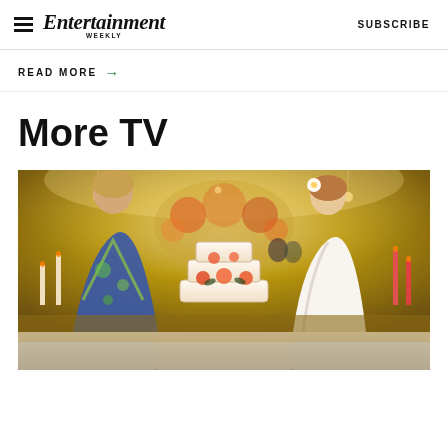Entertainment Weekly — SUBSCRIBE
READ MORE →
More TV
[Figure (photo): Two women facing each other across a wedding cake in an ornately decorated venue with flowers and candles. One woman wears a colorful printed kimono-style top, the other wears a white halter dress with a flower in her hair.]